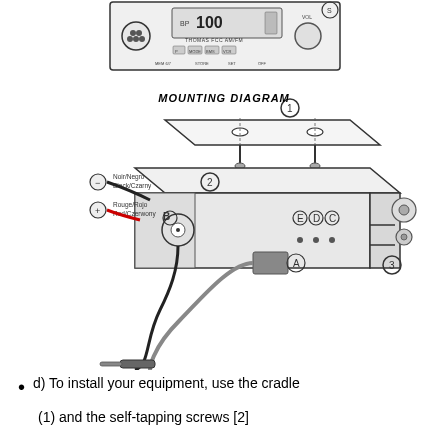[Figure (schematic): Top portion shows front panel of a THOMAS FCC AM/FM radio unit with display, knobs and buttons. Below is a mounting diagram showing an exploded view of a car radio cradle mount with numbered parts (1, 2, 3) and lettered connectors (A, B, C, D, E). Wires with black (Noir/Negro/Black/Czarny, negative) and red (Rouge/Rojo/Red/Czerwony, positive) labels are shown connecting to the unit. Antenna cable and power cables are illustrated.]
MOUNTING DIAGRAM
d) To install your equipment, use the cradle
(1) and the self-tapping screws [2]